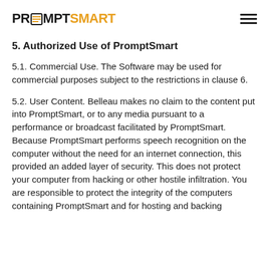PROMPTSMART
5. Authorized Use of PromptSmart
5.1. Commercial Use. The Software may be used for commercial purposes subject to the restrictions in clause 6.
5.2. User Content. Belleau makes no claim to the content put into PromptSmart, or to any media pursuant to a performance or broadcast facilitated by PromptSmart. Because PromptSmart performs speech recognition on the computer without the need for an internet connection, this provided an added layer of security. This does not protect your computer from hacking or other hostile infiltration. You are responsible to protect the integrity of the computers containing PromptSmart and for hosting and backing